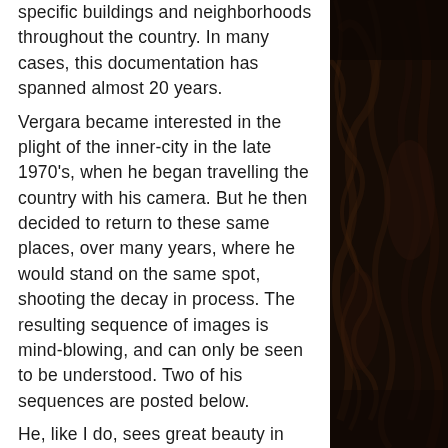specific buildings and neighborhoods throughout the country. In many cases, this documentation has spanned almost 20 years. Vergara became interested in the plight of the inner-city in the late 1970's, when he began travelling the country with his camera. But he then decided to return to these same places, over many years, where he would stand on the same spot, shooting the decay in process. The resulting sequence of images is mind-blowing, and can only be seen to be understood. Two of his sequences are posted below. He, like I do, sees great beauty in modern ruins. He has even suggested preserving some of the country's grander examples and turning them into museums or tourist
[Figure (photo): Dark brown textured surface, likely tree bark or rough natural material, occupying the right column of the page.]